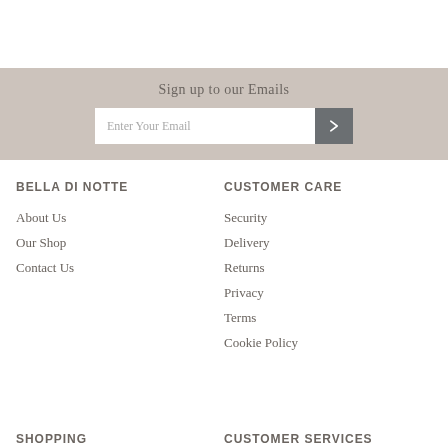Sign up to our Emails
Enter Your Email
BELLA DI NOTTE
CUSTOMER CARE
About Us
Our Shop
Contact Us
Security
Delivery
Returns
Privacy
Terms
Cookie Policy
SHOPPING
CUSTOMER SERVICES